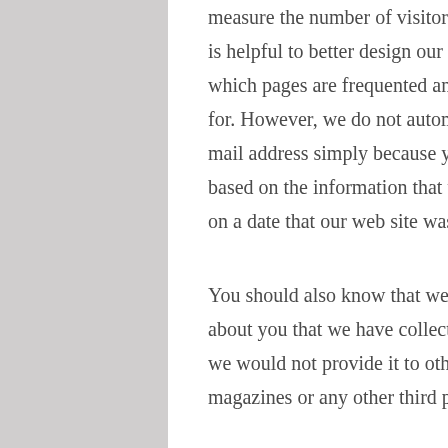measure the number of visitors to our web site. Such information is helpful to better design our web site for you, because we know which pages are frequented and what information you are looking for. However, we do not automatically collect your personal e-mail address simply because you visit our site. All we know, based on the information that we collect, is the number of times on a date that our web site was visited.
You should also know that we do not sell any of the information about you that we have collected or stored. This also means that we would not provide it to other companies, marketers, magazines or any other third parties who are not our